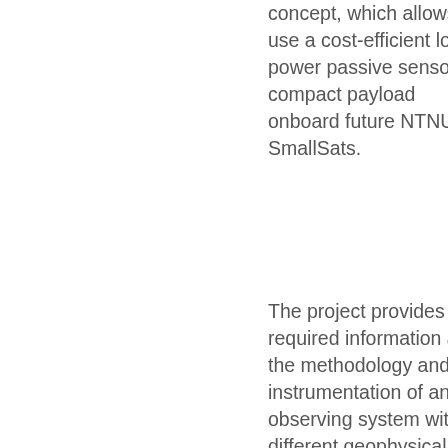concept, which allows to use a cost-efficient low-power passive sensor in compact payload onboard future NTNU SmallSats.
The project provides required information about the methodology and instrumentation of an observing system with different geophysical parameters of interest such as sea ice thickness, sea surface height and wave height. The results will be used to design the NTNU SmallSats, which will be integrated into a